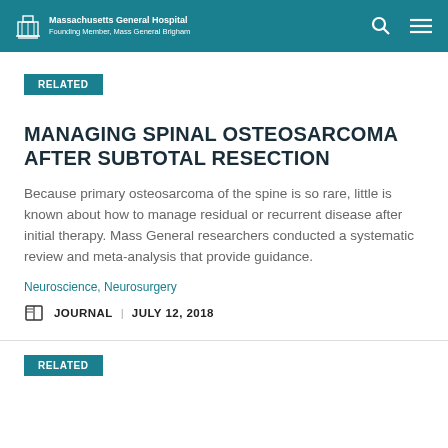Massachusetts General Hospital — Founding Member, Mass General Brigham
RELATED
MANAGING SPINAL OSTEOSARCOMA AFTER SUBTOTAL RESECTION
Because primary osteosarcoma of the spine is so rare, little is known about how to manage residual or recurrent disease after initial therapy. Mass General researchers conducted a systematic review and meta-analysis that provide guidance.
Neuroscience, Neurosurgery
JOURNAL | JULY 12, 2018
RELATED